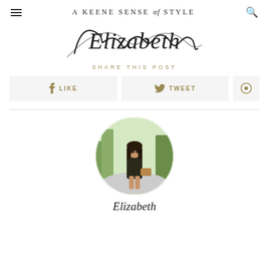A KEENE SENSE of STYLE
[Figure (illustration): Cursive script signature reading 'Elizabeth']
SHARE THIS POST
[Figure (infographic): Social share buttons: LIKE (Facebook), TWEET (Twitter), Pinterest icon]
[Figure (photo): Circular profile photo of a woman in a floral dress standing outdoors on a sunny day]
Elizabeth